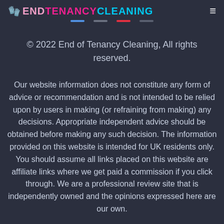ENDTENANCYCLEANING
© 2022 End of Tenancy Cleaning, All rights reserved.
Our website information does not constitute any form of advice or recommendation and is not intended to be relied upon by users in making (or refraining from making) any decisions. Appropriate independent advice should be obtained before making any such decision. The information provided on this website is intended for UK residents only. You should assume all links placed on this website are affiliate links where we get paid a commission if you click through. We are a professional review site that is independently owned and the opinions expressed here are our own.